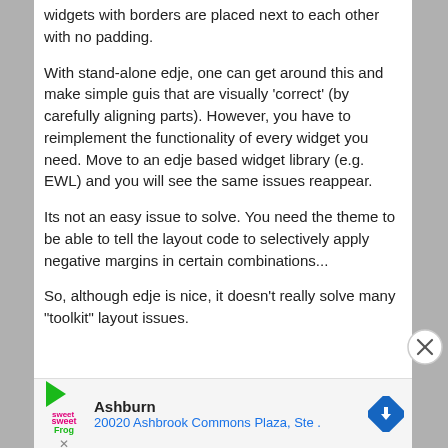widgets with borders are placed next to each other with no padding.
With stand-alone edje, one can get around this and make simple guis that are visually 'correct' (by carefully aligning parts). However, you have to reimplement the functionality of every widget you need. Move to an edje based widget library (e.g. EWL) and you will see the same issues reappear.
Its not an easy issue to solve. You need the theme to be able to tell the layout code to selectively apply negative margins in certain combinations...
So, although edje is nice, it doesn't really solve many "toolkit" layout issues.
[Figure (infographic): Advertisement bar: sweetFrog logo, Ashburn location text '20020 Ashbrook Commons Plaza, Ste.' with a blue diamond navigation arrow icon and a close X button]